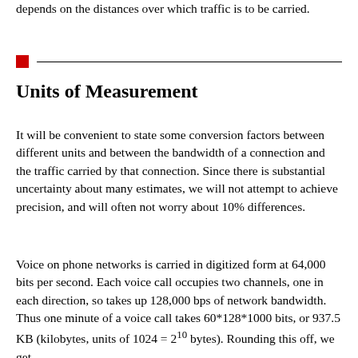depends on the distances over which traffic is to be carried.
Units of Measurement
It will be convenient to state some conversion factors between different units and between the bandwidth of a connection and the traffic carried by that connection. Since there is substantial uncertainty about many estimates, we will not attempt to achieve precision, and will often not worry about 10% differences.
Voice on phone networks is carried in digitized form at 64,000 bits per second. Each voice call occupies two channels, one in each direction, so takes up 128,000 bps of network bandwidth. Thus one minute of a voice call takes 60*128*1000 bits, or 937.5 KB (kilobytes, units of 1024 = 2¹⁰ bytes). Rounding this off, we get